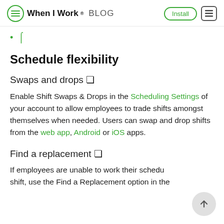When I Work BLOG | Install
Schedule flexibility
Schedule flexibility
Swaps and drops 🔄
Enable Shift Swaps & Drops in the Scheduling Settings of your account to allow employees to trade shifts amongst themselves when needed. Users can swap and drop shifts from the web app, Android or iOS apps.
Find a replacement 🔄
If employees are unable to work their scheduled shift, use the Find a Replacement option in the